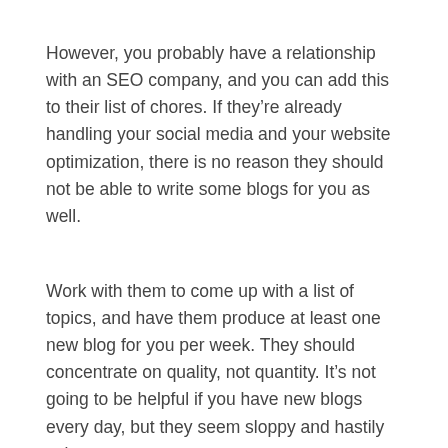However, you probably have a relationship with an SEO company, and you can add this to their list of chores. If they're already handling your social media and your website optimization, there is no reason they should not be able to write some blogs for you as well.
Work with them to come up with a list of topics, and have them produce at least one new blog for you per week. They should concentrate on quality, not quantity. It's not going to be helpful if you have new blogs every day, but they seem sloppy and hastily written.
Each one of your blogs should generate buzz when it comes